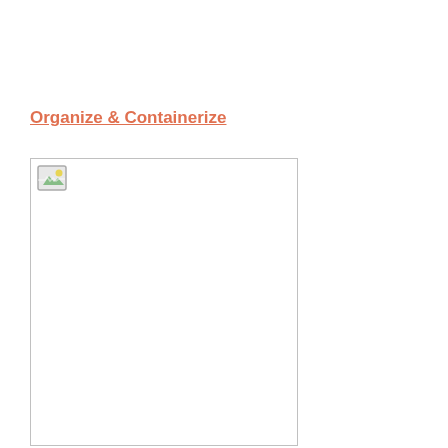Organize & Containerize
[Figure (illustration): A bordered rectangular image placeholder with a small broken image icon in the top-left corner. The box has a light gray border and white interior.]